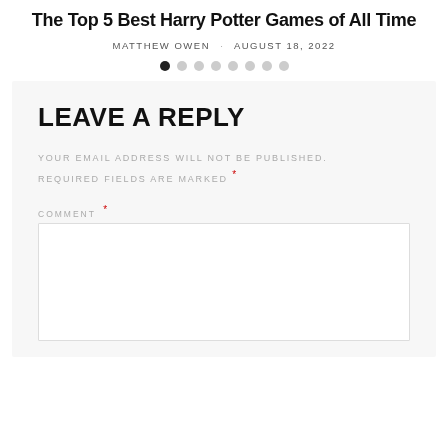The Top 5 Best Harry Potter Games of All Time
MATTHEW OWEN   AUGUST 18, 2022
[Figure (other): Pagination dots: 8 dots with the first dot active/filled black and the rest grey]
LEAVE A REPLY
YOUR EMAIL ADDRESS WILL NOT BE PUBLISHED. REQUIRED FIELDS ARE MARKED *
COMMENT *
[Figure (other): Empty comment text area input box]